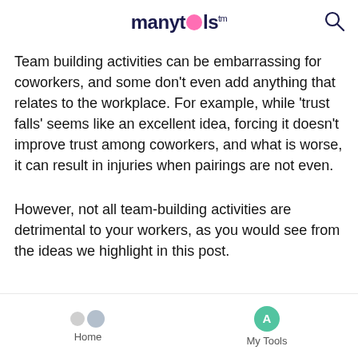manytools™
Team building activities can be embarrassing for coworkers, and some don't even add anything that relates to the workplace. For example, while 'trust falls' seems like an excellent idea, forcing it doesn't improve trust among coworkers, and what is worse, it can result in injuries when pairings are not even.
However, not all team-building activities are detrimental to your workers, as you would see from the ideas we highlight in this post.
Home   My Tools